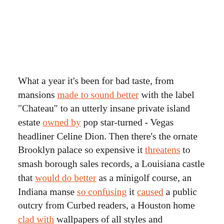What a year it's been for bad taste, from mansions made to sound better with the label "Chateau" to an utterly insane private island estate owned by pop star-turned-Vegas headliner Celine Dion. Then there's the ornate Brooklyn palace so expensive it threatens to smash borough sales records, a Louisiana castle that would do better as a minigolf course, an Indiana manse so confusing it caused a public outcry from Curbed readers, a Houston home clad with wallpapers of all styles and persuasions, a catastrophic Florida behemoth that just may be the worst house of the year, and this "impeccably